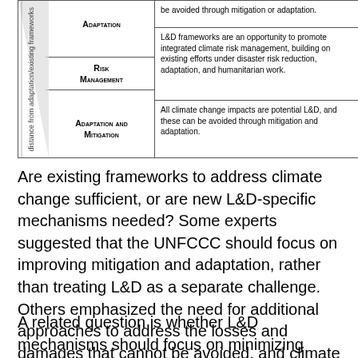[Figure (table-as-image): A table with three rows showing different L&D framework interpretations. Left column has a diagonal shaded area with rotated label 'distance from adaptation/existing frameworks' and center labels: Adaptation, Risk Management, Adaptation and Mitigation. Right column has corresponding text descriptions.]
Are existing frameworks to address climate change sufficient, or are new L&D-specific mechanisms needed? Some experts suggested that the UNFCCC should focus on improving mitigation and adaptation, rather than treating L&D as a separate challenge. Others emphasized the need for additional approaches to address the losses and damages that cannot be avoided, and climate changes which cannot be adapted to.
A related question is whether L&D mechanisms should focus on minimizing negative consequences of climate